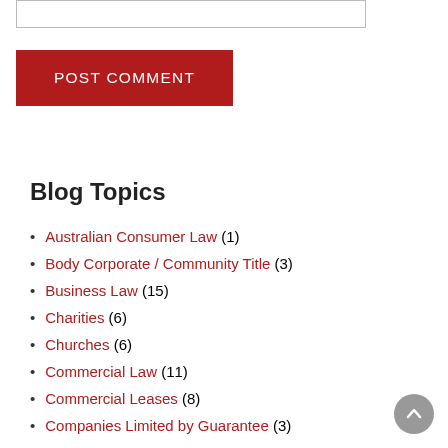Blog Topics
Australian Consumer Law (1)
Body Corporate / Community Title (3)
Business Law (15)
Charities (6)
Churches (6)
Commercial Law (11)
Commercial Leases (8)
Companies Limited by Guarantee (3)
Compensation Law (14)
Conveyancing (23)